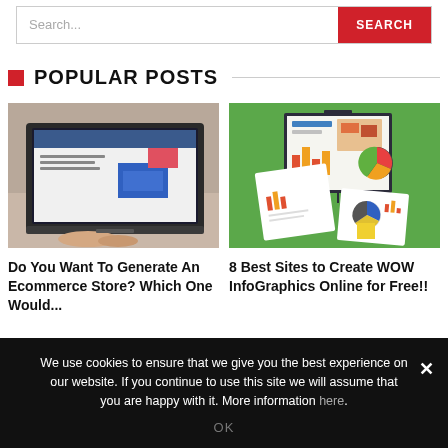Search...  SEARCH
POPULAR POSTS
[Figure (photo): Laptop showing an ecommerce website being built, person typing on keyboard]
Do You Want To Generate An Ecommerce Store? Which One Would...
[Figure (illustration): Illustration of a presentation board and papers with colorful charts and infographics on green background]
8 Best Sites to Create WOW InfoGraphics Online for Free!!
We use cookies to ensure that we give you the best experience on our website. If you continue to use this site we will assume that you are happy with it. More information here.